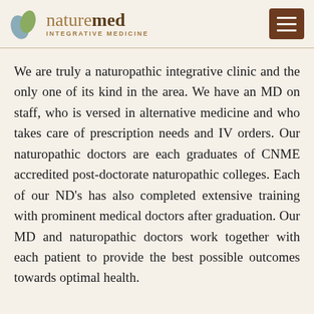naturemed INTEGRATIVE MEDICINE
We are truly a naturopathic integrative clinic and the only one of its kind in the area. We have an MD on staff, who is versed in alternative medicine and who takes care of prescription needs and IV orders. Our naturopathic doctors are each graduates of CNME accredited post-doctorate naturopathic colleges. Each of our ND's has also completed extensive training with prominent medical doctors after graduation. Our MD and naturopathic doctors work together with each patient to provide the best possible outcomes towards optimal health.